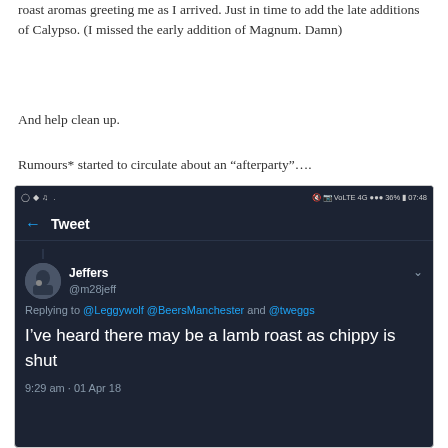roast aromas greeting me as I arrived. Just in time to add the late additions of Calypso. (I missed the early addition of Magnum. Damn)
And help clean up.
Rumours* started to circulate about an “after­party”….
[Figure (screenshot): Screenshot of a Twitter/tweet app showing a tweet by Jeffers (@m28jeff) replying to @Leggywolf @BeersManchester and @tweggs. Tweet text: “I’ve heard there may be a lamb roast as chippy is shut”. Timestamp: 9:29 am · 01 Apr 18. Phone status bar shows 36% battery at 07:48.]